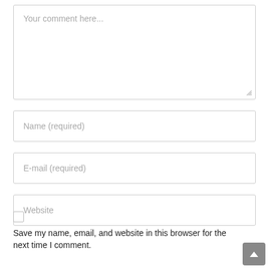Your comment here...
Name (required)
E-mail (required)
Website
Save my name, email, and website in this browser for the next time I comment.